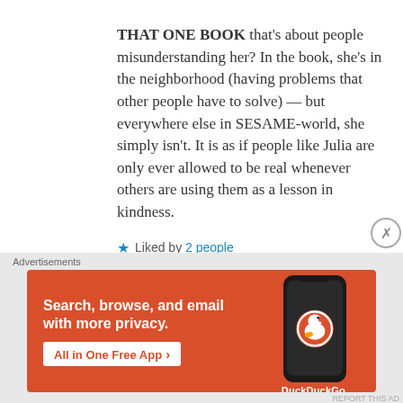THAT ONE BOOK that's about people misunderstanding her? In the book, she's in the neighborhood (having problems that other people have to solve) — but everywhere else in SESAME-world, she simply isn't. It is as if people like Julia are only ever allowed to be real whenever others are using them as a lesson in kindness.
★ Liked by 2 people
[Figure (screenshot): DuckDuckGo advertisement banner with orange background. Left side: bold white text 'Search, browse, and email with more privacy.' with a white button 'All in One Free App'. Right side: dark smartphone showing the DuckDuckGo app icon and 'DuckDuckGo.' text.]